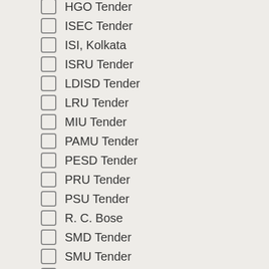HGO Tender
ISEC Tender
ISI, Kolkata
ISRU Tender
LDISD Tender
LRU Tender
MIU Tender
PAMU Tender
PESD Tender
PRU Tender
PSU Tender
R. C. Bose
SMD Tender
SMU Tender
SOSU Tender
SQCOR Tender
SQCORD News